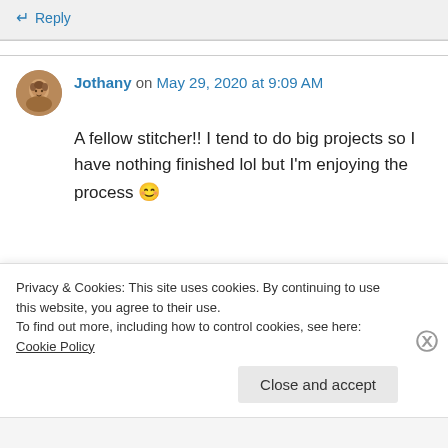Reply
Jothany on May 29, 2020 at 9:09 AM
A fellow stitcher!! I tend to do big projects so I have nothing finished lol but I'm enjoying the process 😊
Privacy & Cookies: This site uses cookies. By continuing to use this website, you agree to their use.
To find out more, including how to control cookies, see here: Cookie Policy
Close and accept